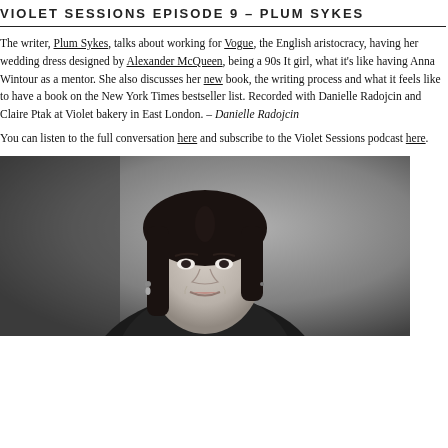VIOLET SESSIONS EPISODE 9 – PLUM SYKES
The writer, Plum Sykes, talks about working for Vogue, the English aristocracy, having her wedding dress designed by Alexander McQueen, being a 90s It girl, what it's like having Anna Wintour as a mentor. She also discusses her new book, the writing process and what it feels like to have a book on the New York Times bestseller list. Recorded with Danielle Radojcin and Claire Ptak at Violet bakery in East London. – Danielle Radojcin
You can listen to the full conversation here and subscribe to the Violet Sessions podcast here.
[Figure (photo): Black and white portrait photograph of Plum Sykes, a woman with straight dark hair, looking slightly to the side with a subtle smile, wearing drop earrings.]